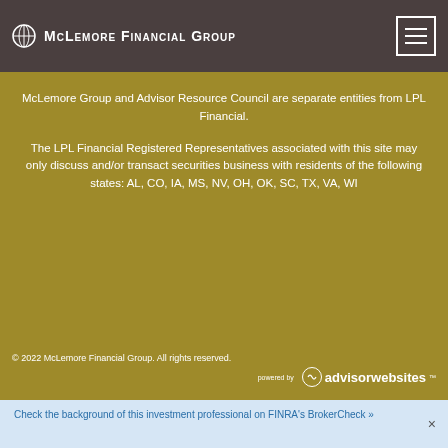McLemore Financial Group
McLemore Group and Advisor Resource Council are separate entities from LPL Financial.
The LPL Financial Registered Representatives associated with this site may only discuss and/or transact securities business with residents of the following states: AL, CO, IA, MS, NV, OH, OK, SC, TX, VA, WI
© 2022 McLemore Financial Group. All rights reserved.
Check the background of this investment professional on FINRA's BrokerCheck »